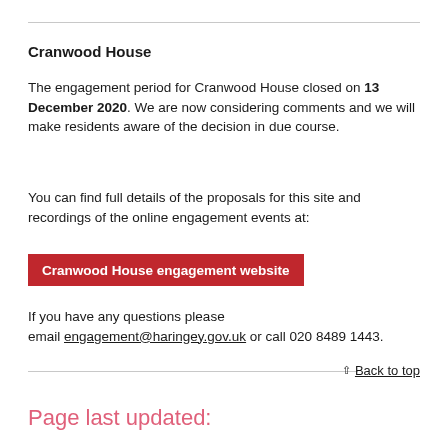Cranwood House
The engagement period for Cranwood House closed on 13 December 2020. We are now considering comments and we will make residents aware of the decision in due course.
You can find full details of the proposals for this site and recordings of the online engagement events at:
Cranwood House engagement website
If you have any questions please email engagement@haringey.gov.uk or call 020 8489 1443.
Back to top
Page last updated: